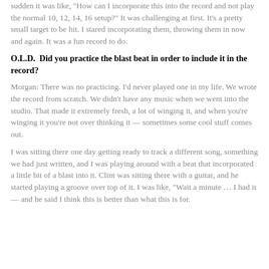sudden it was like, "How can I incorporate this into the record and not play the normal 10, 12, 14, 16 setup?" It was challenging at first. It's a pretty small target to be hit. I stared incorporating them, throwing them in now and again. It was a fun record to do.
O.L.D.  Did you practice the blast beat in order to include it in the record?
Morgan: There was no practicing. I'd never played one in my life. We wrote the record from scratch. We didn't have any music when we went into the studio. That made it extremely fresh, a lot of winging it, and when you're winging it you're not over thinking it — sometimes some cool stuff comes out.
I was sitting there one day getting ready to track a different song, something we had just written, and I was playing around with a beat that incorporated a little bit of a blast into it. Clint was sitting there with a guitar, and he started playing a groove over top of it. I was like, "Wait a minute … I had it — and he said I think this is better than what this is for.